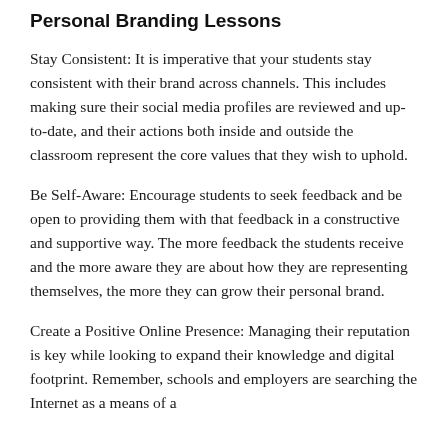Personal Branding Lessons
Stay Consistent: It is imperative that your students stay consistent with their brand across channels. This includes making sure their social media profiles are reviewed and up-to-date, and their actions both inside and outside the classroom represent the core values that they wish to uphold.
Be Self-Aware: Encourage students to seek feedback and be open to providing them with that feedback in a constructive and supportive way. The more feedback the students receive and the more aware they are about how they are representing themselves, the more they can grow their personal brand.
Create a Positive Online Presence: Managing their reputation is key while looking to expand their knowledge and digital footprint. Remember, schools and employers are searching the Internet as a means of a